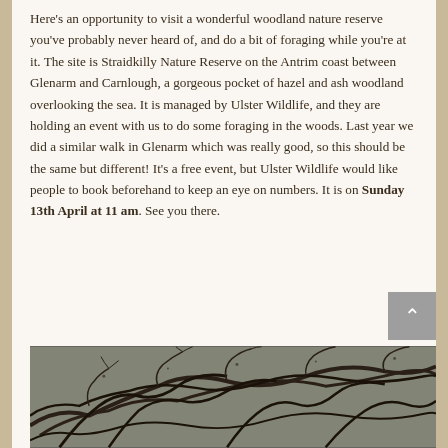Here's an opportunity to visit a wonderful woodland nature reserve you've probably never heard of, and do a bit of foraging while you're at it. The site is Straidkilly Nature Reserve on the Antrim coast between Glenarm and Carnlough, a gorgeous pocket of hazel and ash woodland overlooking the sea. It is managed by Ulster Wildlife, and they are holding an event with us to do some foraging in the woods. Last year we did a similar walk in Glenarm which was really good, so this should be the same but different! It's a free event, but Ulster Wildlife would like people to book beforehand to keep an eye on numbers. It is on Sunday 13th April at 11 am. See you there.
[Figure (photo): A woodland scene showing bare tree branches intertwined against a light sky, black and white or desaturated tones.]